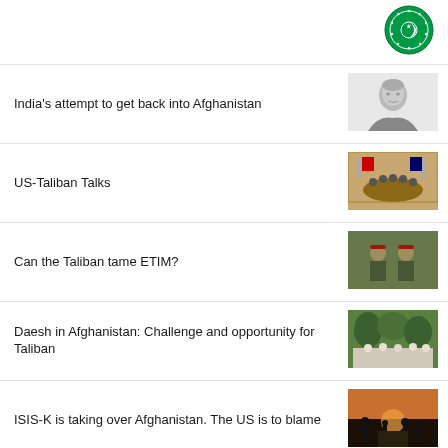[Figure (logo): OIC (Organisation of Islamic Cooperation) logo - green circular emblem]
India's attempt to get back into Afghanistan
[Figure (photo): Black and white portrait photo of an elderly man]
US-Taliban Talks
[Figure (photo): Photo of a meeting room with people seated around a large table]
Can the Taliban tame ETIM?
[Figure (photo): Photo of armed soldiers with red headbands]
Daesh in Afghanistan: Challenge and opportunity for Taliban
[Figure (photo): Photo of a crowd of people under trees]
ISIS-K is taking over Afghanistan. The US is to blame
[Figure (photo): Photo of a street scene at dusk/dawn with silhouettes]
Most Visited
Taliban: America agreed not to give Afghanistan assets to charity organizations
Rehabiliation of Kabul Machine Khana turns Afghanistan to a big amusement plac
Restless journey of love from Daykundi of Afghanistan to Germany